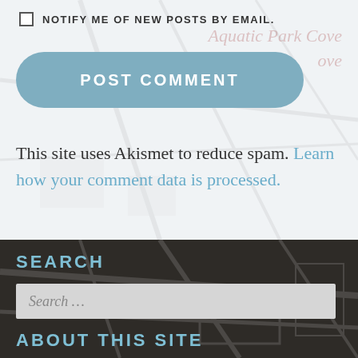NOTIFY ME OF NEW POSTS BY EMAIL.
POST COMMENT
This site uses Akismet to reduce spam. Learn how your comment data is processed.
SEARCH
Search …
ABOUT THIS SITE